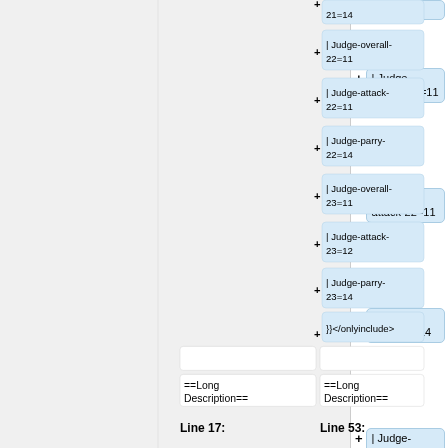[Figure (screenshot): Diff view screenshot showing wiki markup additions. Right column shows multiple added lines: '| Judge-overall-21=14', '| Judge-overall-22=11', '| Judge-attack-22=11', '| Judge-parry-22=14', '| Judge-overall-23=11', '| Judge-attack-23=12', '| Judge-parry-23=14', '}}', followed by bottom section with empty boxes and ==Long Description== headings on both sides, and Line 17: / Line 53: labels.]